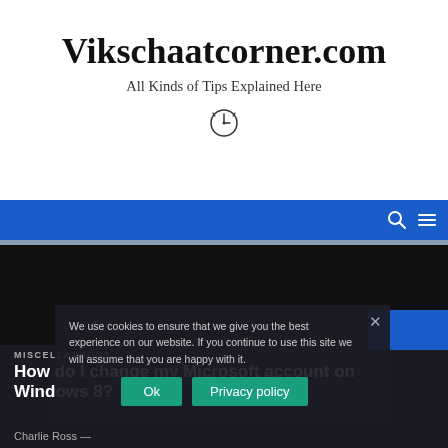Vikschaatcorner.com
All Kinds of Tips Explained Here
[Figure (illustration): Clock/alarm icon]
[Figure (screenshot): Blue navigation bar with search and hamburger menu icons]
[Figure (screenshot): Black image/hero area]
MISCELLANEOUS
How do I change my Microsoft account on Windows 8?
Charlie Ross —
We use cookies to ensure that we give you the best experience on our website. If you continue to use this site we will assume that you are happy with it.
Ok   Privacy policy